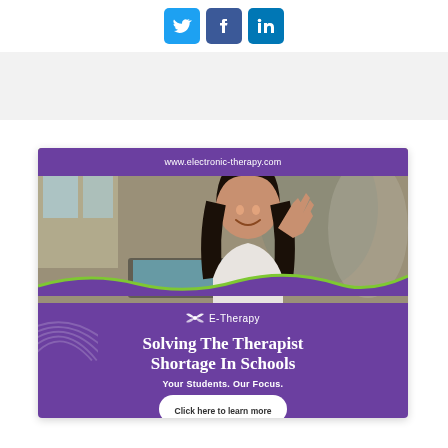[Figure (other): Social media share icons: Twitter (blue bird), Facebook (blue f), LinkedIn (blue in) displayed as rounded square buttons]
[Figure (illustration): E-Therapy advertisement banner. Purple background with photo of smiling Asian woman waving at a laptop screen. URL: www.electronic-therapy.com. Logo: E-Therapy with leaf icon. Headline: Solving The Therapist Shortage In Schools. Subheadline: Your Students. Our Focus. Call-to-action button: Click here to learn more]